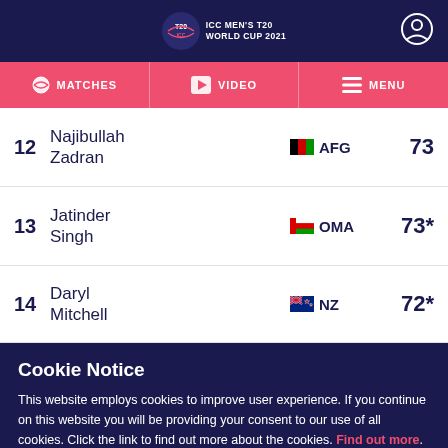ICC Men's T20 World Cup 2021
MATCHES | VIDEO | MENU
| Rank | Name | Country | Score |
| --- | --- | --- | --- |
| 12 | Najibullah Zadran | AFG | 73 |
| 13 | Jatinder Singh | OMA | 73* |
| 14 | Daryl Mitchell | NZ | 72* |
Cookie Notice
This website employs cookies to improve user experience. If you continue on this website you will be providing your consent to our use of all cookies. Click the link to find out more about the cookies. Find out more.
ACCEPT